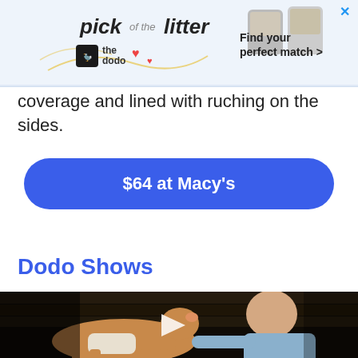[Figure (screenshot): Advertisement banner for 'The Dodo' showing 'pick of the litter' with pet photos and text 'Find your perfect match >' with a close X button]
coverage and lined with ruching on the sides.
$64 at Macy's
Dodo Shows
[Figure (screenshot): Video thumbnail showing a man interacting with a small pig/goat animal in a dark barn setting, with a white play button overlay]